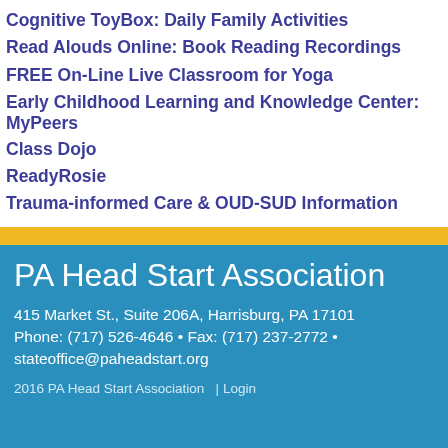Cognitive ToyBox: Daily Family Activities
Read Alouds Online: Book Reading Recordings
FREE On-Line Live Classroom for Yoga
Early Childhood Learning and Knowledge Center: MyPeers
Class Dojo
ReadyRosie
Trauma-informed Care & OUD-SUD Information
PA Head Start Association
415 Market St., Suite 206A, Harrisburg, PA 17101
Phone: (717) 526-4646 • Fax: (717) 237-2772 • stateoffice@paheadstart.org
2016 PA Head Start Association  | Login